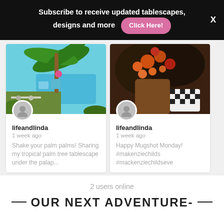Subscribe to receive updated tablescapes, designs and more  Click Here!
[Figure (photo): Tropical palm tree tablescape under a palapa outdoors with pool in background]
lifeandlinda
1 week ago
Shake your palm palms! Sharing my tropical palm tree tablescape under the palap...
[Figure (photo): Floral arrangement with orange and red flowers, fruits, dark foliage, and patterned ceramic pot]
lifeandlinda
1 week ago
Happy Mugshot Monday! #makenziechilds #mackenziechildseve
2 users online
OUR NEXT ADVENTURE-